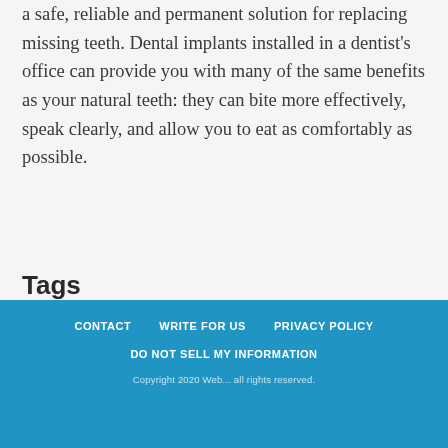a safe, reliable and permanent solution for replacing missing teeth. Dental implants installed in a dentist's office can provide you with many of the same benefits as your natural teeth: they can bite more effectively, speak clearly, and allow you to eat as comfortably as possible.
Tags
improve
CONTACT   WRITE FOR US   PRIVACY POLICY   DO NOT SELL MY INFORMATION   Copyright 2020 Web...